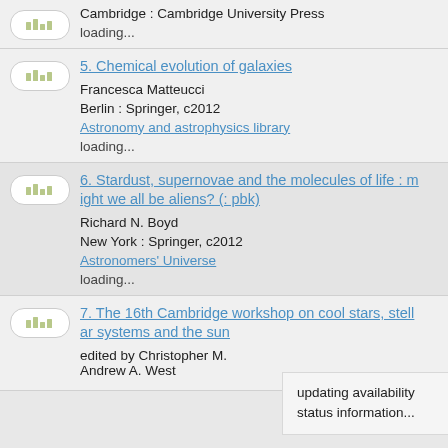Cambridge : Cambridge University Press
loading...
5. Chemical evolution of galaxies
Francesca Matteucci
Berlin : Springer, c2012
Astronomy and astrophysics library
loading...
6. Stardust, supernovae and the molecules of life : might we all be aliens? (: pbk)
Richard N. Boyd
New York : Springer, c2012
Astronomers' Universe
loading...
7. The 16th Cambridge workshop on cool stars, stellar systems and the sun
edited by Christopher M. ... Andrew A. West
updating availability status information...